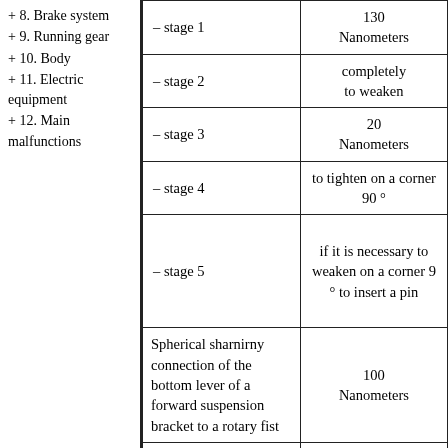+ 8. Brake system
+ 9. Running gear
+ 10. Body
+ 11. Electric equipment
+ 12. Main malfunctions
| Stage | Value |
| --- | --- |
| – stage 1 | 130 Nanometers |
| – stage 2 | completely to weaken |
| – stage 3 | 20 Nanometers |
| – stage 4 | to tighten on a corner 90 ° |
| – stage 5 | if it is necessary to weaken on a corner 9 ° to insert a pin |
| Spherical sharnirny connection of the bottom lever of a forward suspension bracket to a rotary fist | 100 Nanometers |
| Steering bent for to a | 60 |